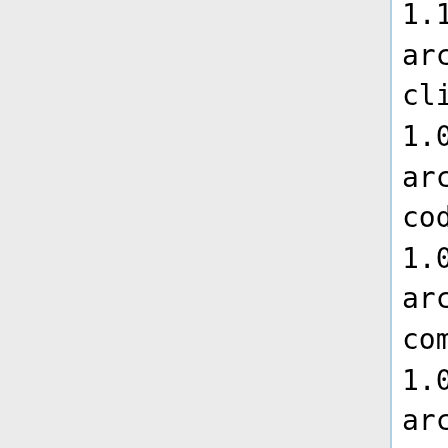1.1,http://robocode-archive.strangeautomata.com/rob cli.WasteOfAmmo 1.0,http://robocode-archive.strangeautomata.com/rob codemojo.nano.Woot 1.0,http://robocode-archive.strangeautomata.com/rob com.arsenic.NewTest 1.0,http://robocode-archive.strangeautomata.com/rob com.blogspot.malinkody.Destrobo 1.0,http://robocode-archive.strangeautomata.com/rob com.cohesiva.robocode.ManOwaR 1.0,http://robocode-archive.strangeautomata.com/rob com.sociesc.T1000 1.0.0,http://robocode-archive.strangeautomata.com/rob com.syncleus.robocode.Dreadnaug 0.1,http://robocode-archive.strangeautomata.com/rob com.timothyveletta.FuzzyBot 1.1,https://github.com/aleksey-